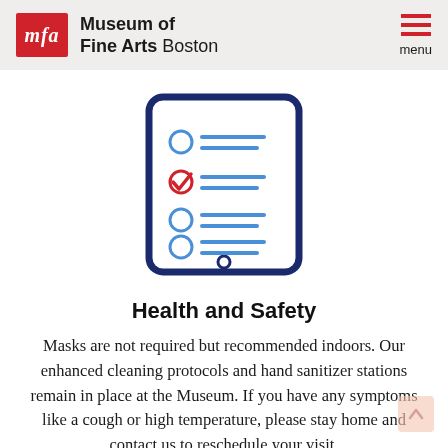Museum of Fine Arts Boston
[Figure (illustration): Checklist icon on a tablet/clipboard shape with dark blue border. Four rows: first row has an empty blue circle and two blue horizontal lines; second row has a red checkmark circle and two blue lines; third row has empty blue circle and two blue lines; fourth row has empty blue circle and two blue lines.]
Health and Safety
Masks are not required but recommended indoors. Our enhanced cleaning protocols and hand sanitizer stations remain in place at the Museum. If you have any symptoms like a cough or high temperature, please stay home and contact us to reschedule your visit.